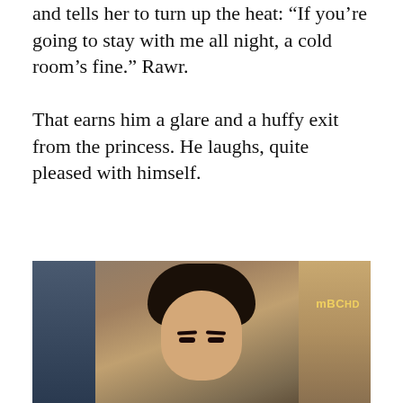and tells her to turn up the heat: "If you're going to stay with me all night, a cold room's fine." Rawr.
That earns him a glare and a huffy exit from the princess. He laughs, quite pleased with himself.
[Figure (screenshot): A TV screenshot (MBC HD watermark visible) showing a person with short dark hair looking toward the camera, with a blue/dark panel on the left side and another figure partially visible on the right.]